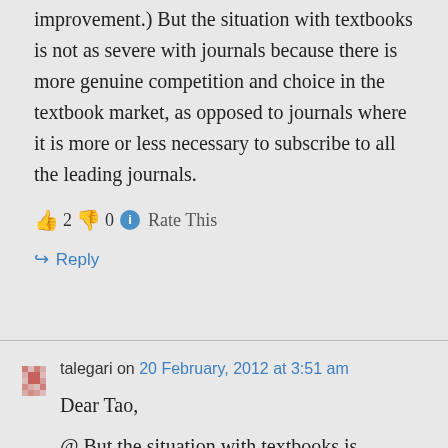improvement.) But the situation with textbooks is not as severe with journals because there is more genuine competition and choice in the textbook market, as opposed to journals where it is more or less necessary to subscribe to all the leading journals.
👍 2 👎 0 ℹ Rate This
↪ Reply
talegari on 20 February, 2012 at 3:51 am
Dear Tao,
@ But the situation with textbooks is